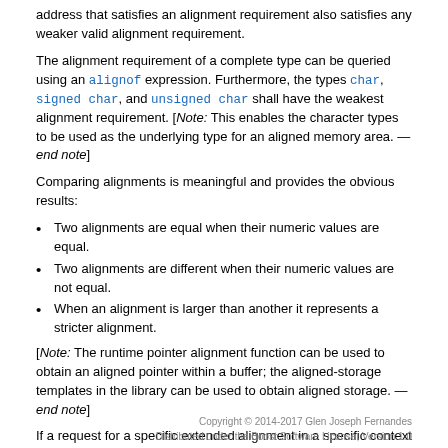address that satisfies an alignment requirement also satisfies any weaker valid alignment requirement.
The alignment requirement of a complete type can be queried using an alignof expression. Furthermore, the types char, signed char, and unsigned char shall have the weakest alignment requirement. [Note: This enables the character types to be used as the underlying type for an aligned memory area. —end note]
Comparing alignments is meaningful and provides the obvious results:
Two alignments are equal when their numeric values are equal.
Two alignments are different when their numeric values are not equal.
When an alignment is larger than another it represents a stricter alignment.
[Note: The runtime pointer alignment function can be used to obtain an aligned pointer within a buffer; the aligned-storage templates in the library can be used to obtain aligned storage. —end note]
If a request for a specific extended alignment in a specific context is not supported by an implementation, the program is ill-formed. Additionally, a request for runtime allocation of dynamic storage for which the requested alignment cannot be honored shall be treated as an allocation failure.
Copyright © 2014-2017 Glen Joseph Fernandes
Distributed under the Boost Software License, Version 1.0